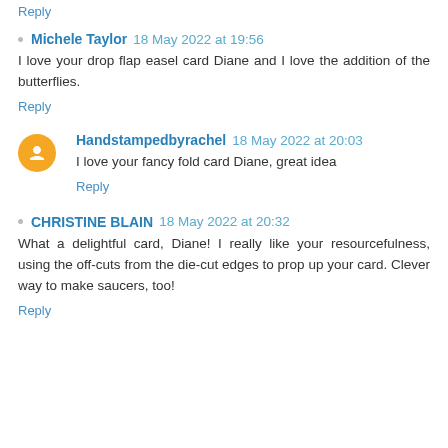Reply
Michele Taylor  18 May 2022 at 19:56
I love your drop flap easel card Diane and I love the addition of the butterflies.
Reply
Handstampedbyrachel  18 May 2022 at 20:03
I love your fancy fold card Diane, great idea
Reply
CHRISTINE BLAIN  18 May 2022 at 20:32
What a delightful card, Diane! I really like your resourcefulness, using the off-cuts from the die-cut edges to prop up your card. Clever way to make saucers, too!
Reply